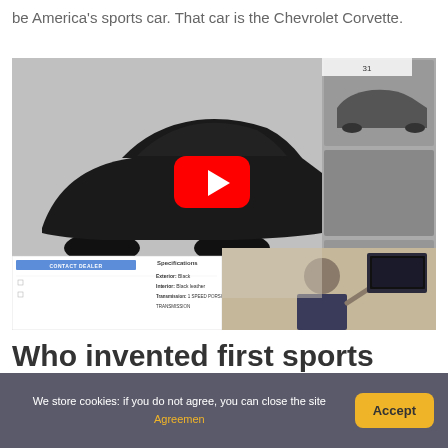be America's sports car. That car is the Chevrolet Corvette.
[Figure (screenshot): Screenshot of a car listing/video page showing a black sports car (Porsche) with a YouTube play button overlay, thumbnail strip on the right, a dealer contact panel and specifications panel at the bottom left, and a video overlay showing a man gesturing at bottom right.]
Who invented first sports car?
We store cookies: if you do not agree, you can close the site Agreemen
Accept